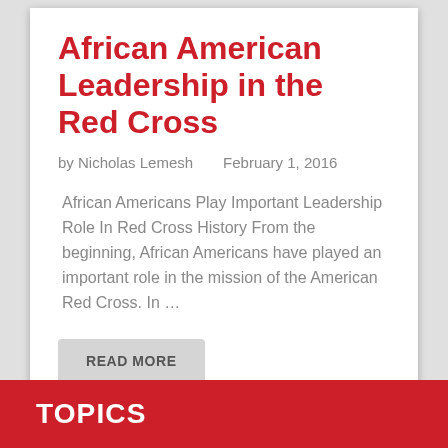African American Leadership in the Red Cross
by Nicholas Lemesh    February 1, 2016
African Americans Play Important Leadership Role In Red Cross History From the beginning, African Americans have played an important role in the mission of the American Red Cross. In …
READ MORE
TOPICS